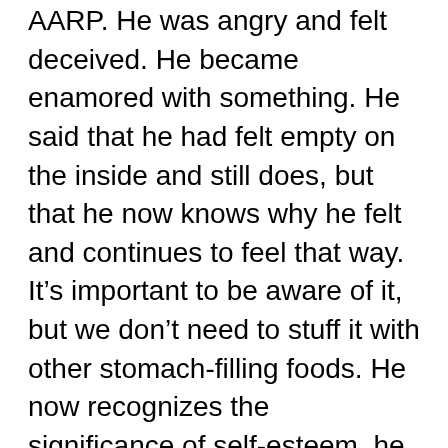AARP. He was angry and felt deceived. He became enamored with something. He said that he had felt empty on the inside and still does, but that he now knows why he felt and continues to feel that way. It’s important to be aware of it, but we don’t need to stuff it with other stomach-filling foods. He now recognizes the significance of self-esteem, he claims. He realized he was just a fraction of who he used to be. He claimed to have dropped 30 pounds by limiting his eating habits and the quantity of food he consumed, as well as performing basic workouts at home on a regular basis.
John Goodman’s personal trainer is McKee Shilstone. He said he brought him back to his senses. He went to the New Orleans